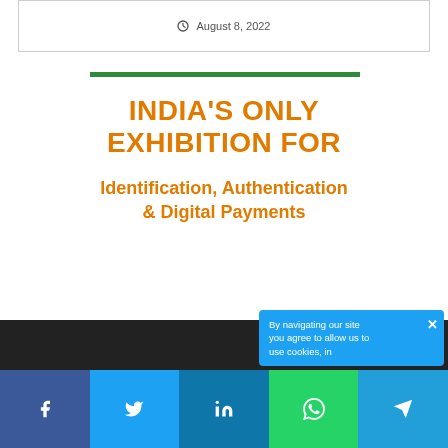August 8, 2022
INDIA'S ONLY EXHIBITION FOR
Identification, Authentication & Digital Payments
By navigating our site you agree to allow us to use cookies, in
f  t  in  (whatsapp)  (telegram)